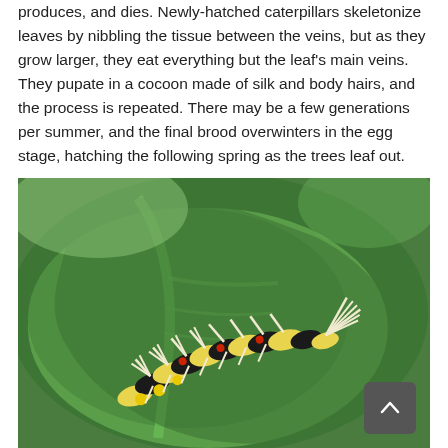produces, and dies. Newly-hatched caterpillars skeletonize leaves by nibbling the tissue between the veins, but as they grow larger, they eat everything but the leaf's main veins. They pupate in a cocoon made of silk and body hairs, and the process is repeated. There may be a few generations per summer, and the final brood overwinters in the egg stage, hatching the following spring as the trees leaf out.
[Figure (photo): Close-up photograph of a hairy caterpillar (tussock moth caterpillar) with yellow and black coloring, red spots, and white/cream-colored tufts of hair, resting on a green leaf.]